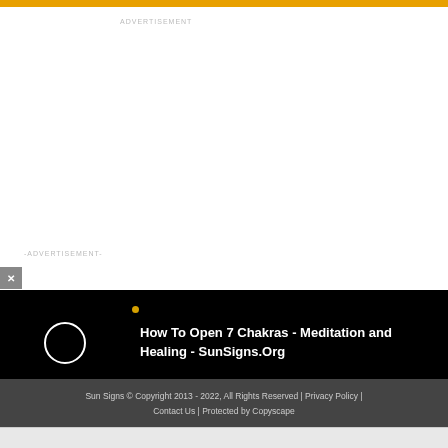ADVERTISEMENT
-ADVERTISEMENT-
[Figure (screenshot): Close button (x) in grey box]
[Figure (screenshot): Video player thumbnail showing a dark space/eclipse image with a circle and a golden dot, black background]
How To Open 7 Chakras - Meditation and Healing - SunSigns.Org
Sun Signs © Copyright 2013 - 2022, All Rights Reserved | Privacy Policy | Contact Us | Protected by Copyscape